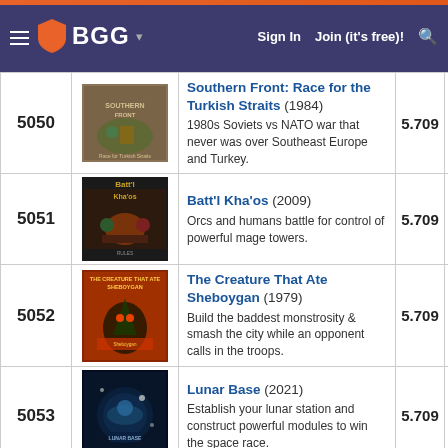BGG — Sign In | Join (it's free)!
| Rank | Image | Game | Rating | Score |
| --- | --- | --- | --- | --- |
| 5050 |  | Southern Front: Race for the Turkish Straits (1984) — 1980s Soviets vs NATO war that never was over Southeast Europe and Turkey. | 5.709 | 7.4 |
| 5051 |  | Batt'l Kha'os (2009) — Orcs and humans battle for control of powerful mage towers. | 5.709 | 6.2 |
| 5052 |  | The Creature That Ate Sheboygan (1979) — Build the baddest monstrosity & smash the city while an opponent calls in the troops. | 5.709 | 6.4 |
| 5053 |  | Lunar Base (2021) — Establish your lunar station and construct powerful modules to win the space race. | 5.709 | 7.2 |